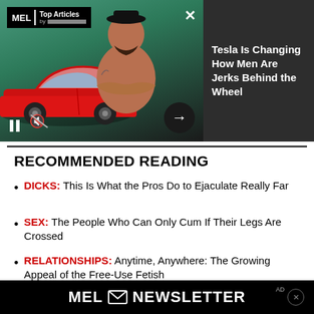[Figure (screenshot): MEL Magazine video banner showing a shirtless man with crossed arms, a red Tesla car, controls (pause, mute, next arrow), and close X button on left portion. Right side shows dark panel with article title text.]
Tesla Is Changing How Men Are Jerks Behind the Wheel
RECOMMENDED READING
DICKS: This Is What the Pros Do to Ejaculate Really Far
SEX: The People Who Can Only Cum If Their Legs Are Crossed
RELATIONSHIPS: Anytime, Anywhere: The Growing Appeal of the Free-Use Fetish
[Figure (screenshot): MEL Newsletter signup bar at the bottom with envelope icon and 'MEL NEWSLETTER' text in white on black background, with X close button]